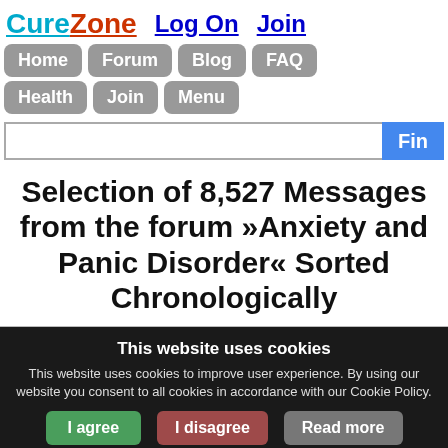CureZone  Log On  Join
Home  Forum  Blog  FAQ  Health  Join  Menu
Selection of 8,527 Messages from the forum »Anxiety and Panic Disorder« Sorted Chronologically
This website uses cookies
This website uses cookies to improve user experience. By using our website you consent to all cookies in accordance with our Cookie Policy.
I agree  I disagree  Read more